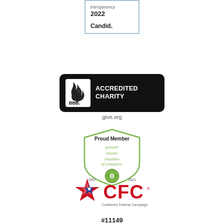[Figure (logo): Candid Transparency 2022 badge with light blue border]
[Figure (logo): BBB Accredited Charity badge from give.org]
give.org
[Figure (logo): Proud Member Greater Miami Chamber of Commerce badge, 1907-2021]
[Figure (logo): CFC Combined Federal Campaign logo with star]
#11149